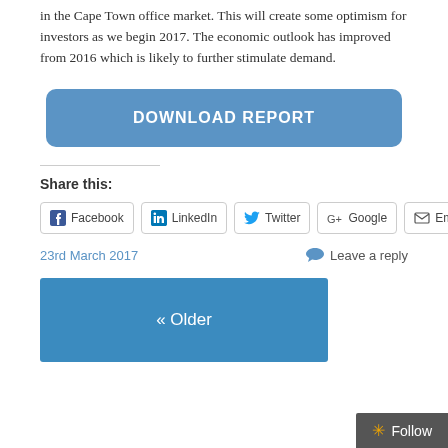in the Cape Town office market. This will create some optimism for investors as we begin 2017. The economic outlook has improved from 2016 which is likely to further stimulate demand.
[Figure (other): Blue rounded button labeled DOWNLOAD REPORT]
Share this:
[Figure (other): Social share buttons: Facebook, LinkedIn, Twitter, Google, Email]
23rd March 2017
Leave a reply
[Figure (other): Blue navigation button labeled « Older]
[Figure (other): Follow button in dark gray bar at bottom right]